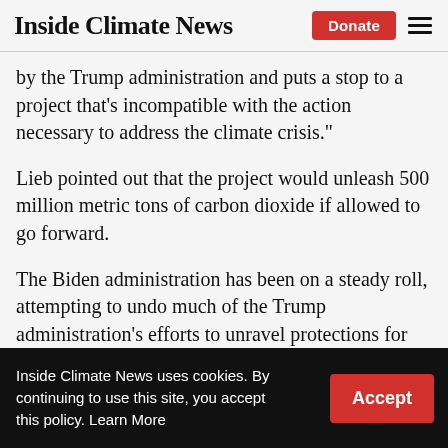Inside Climate News
by the Trump administration and puts a stop to a project that’s incompatible with the action necessary to address the climate crisis.”
Lieb pointed out that the project would unleash 500 million metric tons of carbon dioxide if allowed to go forward.
The Biden administration has been on a steady roll, attempting to undo much of the Trump administration’s efforts to unravel protections for Alaskan wilderness areas and the indigenous people who rely on them.
Inside Climate News uses cookies. By continuing to use this site, you accept this policy. Learn More